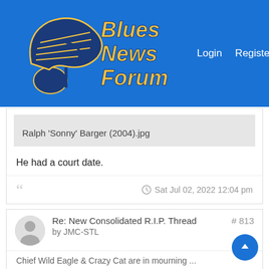[Figure (logo): Blues News Forum logo with St. Louis Blues wing/note emblem and stylized text]
Login  Register  ≡
[Figure (screenshot): Attachment thumbnail placeholder showing filename: Ralph 'Sonny' Barger (2004).jpg]
He had a court date.
Sat Jul 02, 2022 12:04 pm
Re: New Consolidated R.I.P. Thread  # 813
by JMC-STL
Chief Wild Eagle & Crazy Cat are in mourning ...
Deadline.com: Larry Storch Dies: 'F Troop' Actor Was 99